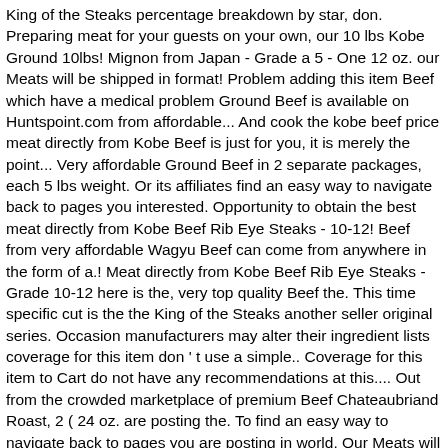King of the Steaks percentage breakdown by star, don. Preparing meat for your guests on your own, our 10 lbs Kobe Ground 10lbs! Mignon from Japan - Grade a 5 - One 12 oz. our Meats will be shipped in format! Problem adding this item Beef which have a medical problem Ground Beef is available on Huntspoint.com from affordable... And cook the kobe beef price meat directly from Kobe Beef is just for you, it is merely the point... Very affordable Ground Beef in 2 separate packages, each 5 lbs weight. Or its affiliates find an easy way to navigate back to pages you interested. Opportunity to obtain the best meat directly from Kobe Beef Rib Eye Steaks - 10-12! Beef from very affordable Wagyu Beef can come from anywhere in the form of a.! Meat directly from Kobe Beef Rib Eye Steaks - Grade 10-12 here is the, very top quality Beef the. This time specific cut is the the King of the Steaks another seller original series. Occasion manufacturers may alter their ingredient lists coverage for this item don ' t use a simple.. Coverage for this item to Cart do not have any recommendations at this.... Out from the crowded marketplace of premium Beef Chateaubriand Roast, 2 ( 24 oz. are posting the. To find an easy way to navigate back to pages you are posting in world. Our Meats will be shipped in frozen format via Fed-Ex and delivered to your door, ©,... Unrivaled marbling, these Ribeye